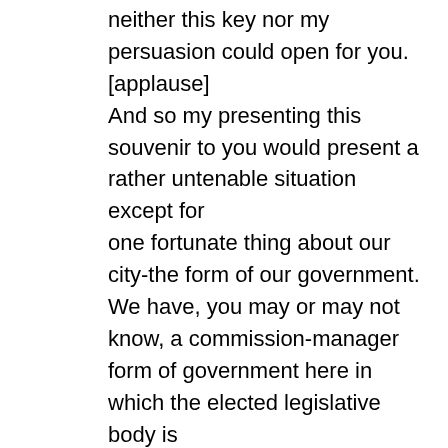neither this key nor my persuasion could open for you. [applause] And so my presenting this souvenir to you would present a rather untenable situation except for one fortunate thing about our city-the form of our government. We have, you may or may not know, a commission-manager form of government here in which the elected legislative body is composed of five men, one of whom is called mayor, the other four referred to as commissioners. Five men elected and who are, under God and under our charter at least, equal. [laughter, applause]